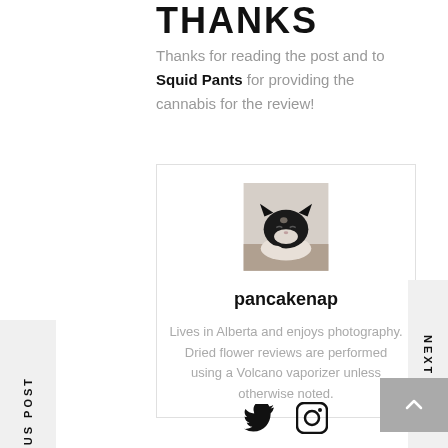THANKS
Thanks for reading the post and to Squid Pants for providing the cannabis for the review!
[Figure (photo): A black and white cat resting with its head down, photographed close-up]
pancakenap
Lives in Alberta and enjoys photography. Dried flower reviews are performed using a Volcano vaporizer unless otherwise noted.
[Figure (other): Twitter and Instagram social media icons]
PREVIOUS POST
NEXT POST